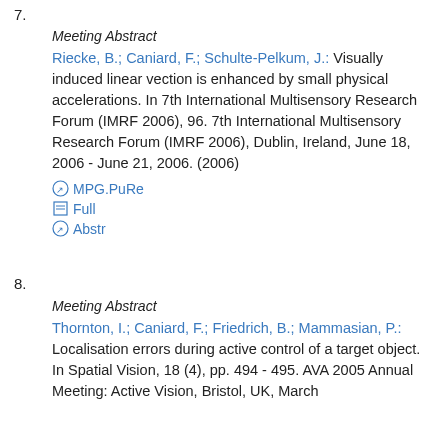7.
Meeting Abstract
Riecke, B.; Caniard, F.; Schulte-Pelkum, J.: Visually induced linear vection is enhanced by small physical accelerations. In 7th International Multisensory Research Forum (IMRF 2006), 96. 7th International Multisensory Research Forum (IMRF 2006), Dublin, Ireland, June 18, 2006 - June 21, 2006. (2006)
MPG.PuRe
Full
Abstr
8.
Meeting Abstract
Thornton, I.; Caniard, F.; Friedrich, B.; Mammasian, P.: Localisation errors during active control of a target object. In Spatial Vision, 18 (4), pp. 494 - 495. AVA 2005 Annual Meeting: Active Vision, Bristol, UK, March